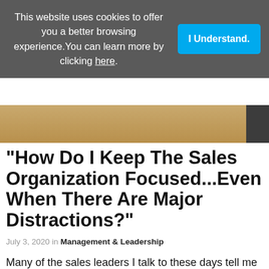This website uses cookies to offer you a better browsing experience. You can learn more by clicking here.
[Figure (screenshot): Cookie consent banner with 'I Understand.' button in blue]
[Figure (photo): Partial photo of a desk surface with items, wooden table background]
"How Do I Keep The Sales Organization Focused...Even When There Are Major Distractions?"
July 3, 2020 in Management & Leadership
Many of the sales leaders I talk to these days tell me that they are struggling with the issue of keeping the team(s) focused. Of course, this